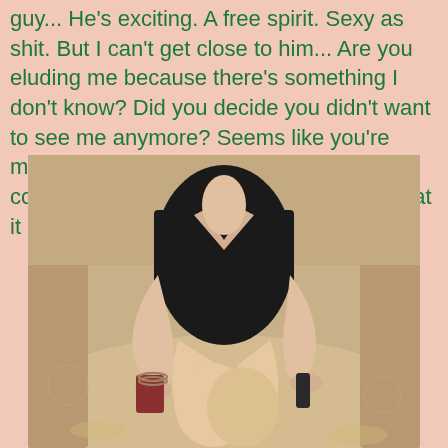guy... He's exciting. A free spirit. Sexy as shit. But I can't get close to him... Are you eluding me because there's something I don't know? Did you decide you didn't want to see me anymore? Seems like you're more excited by the mystery we've got cooking... You turn my ass on! Tell me what it is you want. "Give me the first taste,
[Figure (photo): A person wearing a black tank top seated on a couch or sofa, showing legs crossed, holding a phone or remote in one hand and a dark object in the other hand. The sofa has a patterned fabric.]